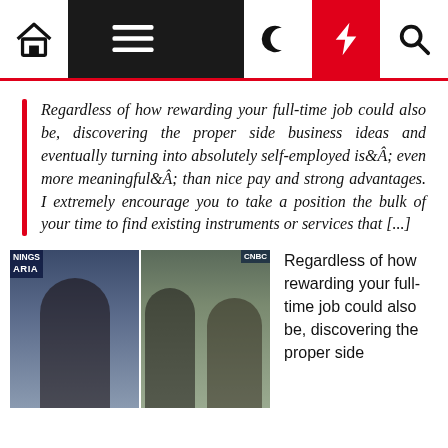Navigation bar with home, menu, moon, bolt, and search icons
Regardless of how rewarding your full-time job could also be, discovering the proper side business ideas and eventually turning into absolutely self-employed isÂ even more meaningfulÂ than nice pay and strong advantages. I extremely encourage you to take a position the bulk of your time to find existing instruments or services that [...]
[Figure (photo): Two side-by-side TV studio photos showing a woman with dark hair; left photo: woman alone at desk with MORNINGS WITH MARIA banner visible; right photo: woman and man in suits at studio desk with CNBC logo visible]
Regardless of how rewarding your full-time job could also be, discovering the proper side